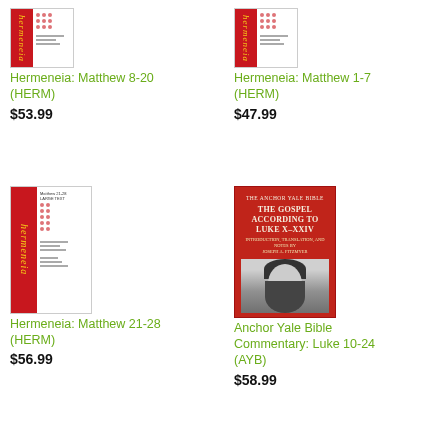[Figure (photo): Hermeneia series book cover for Matthew 8-20]
Hermeneia: Matthew 8-20 (HERM)
$53.99
[Figure (photo): Hermeneia series book cover for Matthew 1-7]
Hermeneia: Matthew 1-7 (HERM)
$47.99
[Figure (photo): Hermeneia series book cover for Matthew 21-28]
Hermeneia: Matthew 21-28 (HERM)
$56.99
[Figure (photo): Anchor Yale Bible Commentary: Luke 10-24 book cover with red background and photo of bearded man]
Anchor Yale Bible Commentary: Luke 10-24 (AYB)
$58.99